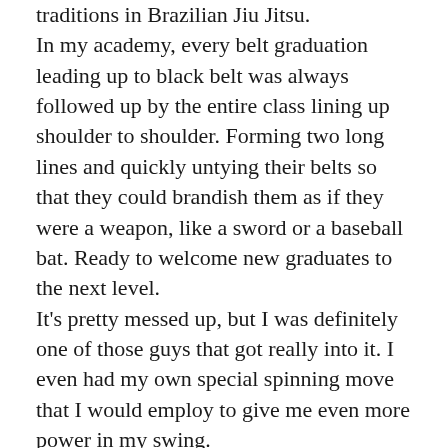traditions in Brazilian Jiu Jitsu. In my academy, every belt graduation leading up to black belt was always followed up by the entire class lining up shoulder to shoulder. Forming two long lines and quickly untying their belts so that they could brandish them as if they were a weapon, like a sword or a baseball bat. Ready to welcome new graduates to the next level. It's pretty messed up, but I was definitely one of those guys that got really into it. I even had my own special spinning move that I would employ to give me even more power in my swing. For those that haven't heard, Alec Baulding got his Brown Belt last week. As I'm sure you have noticed, whenever anyone graduates, Alec is the guy at the